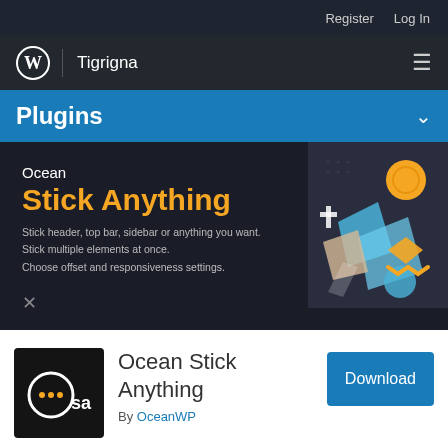Register   Log In
[Figure (logo): WordPress logo (W in circle) with vertical divider and 'Tigrigna' text, hamburger menu icon on right, dark nav bar]
Plugins
[Figure (illustration): Ocean Stick Anything plugin banner: dark background with 'Ocean' in white, 'Stick Anything' in bold orange text, description text about sticking header/top bar/sidebar, geometric colorful shapes on right side]
[Figure (logo): Ocean Stick Anything plugin icon: dark square with white circle containing three dots (speech bubble) and 'sa' text in white]
Ocean Stick Anything
By OceanWP
Download